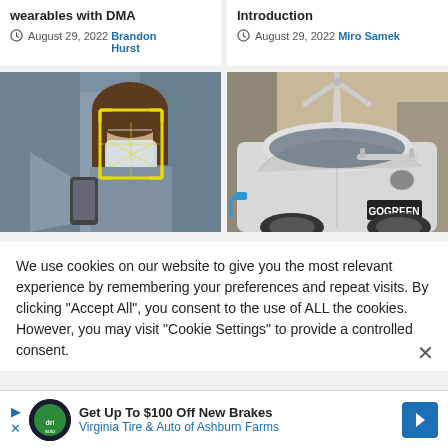wearables with DMA
August 29, 2022  Brandon Hurst
Introduction
August 29, 2022  Miro Samek
[Figure (photo): Woman wearing a face mask holding a phone, with face detection bounding box overlay in yellow]
[Figure (photo): Electric car with GOGREEN license plate being charged, wind turbine in background]
We use cookies on our website to give you the most relevant experience by remembering your preferences and repeat visits. By clicking “Accept All”, you consent to the use of ALL the cookies. However, you may visit "Cookie Settings" to provide a controlled consent.
Get Up To $100 Off New Brakes
Virginia Tire & Auto of Ashburn Farms